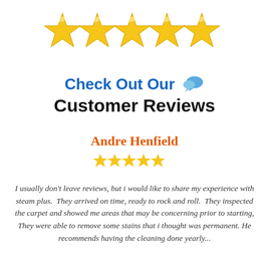[Figure (illustration): Five large gold/yellow 5-pointed stars arranged in a row]
Check Out Our 💬 Customer Reviews
Andre Henfield
[Figure (illustration): Five small gold star rating icons]
I usually don't leave reviews, but i would like to share my experience with steam plus. They arrived on time, ready to rock and roll. They inspected the carpet and showed me areas that may be concerning prior to starting, They were able to remove some stains that i thought was permanent. He recommends having the cleaning done yearly...